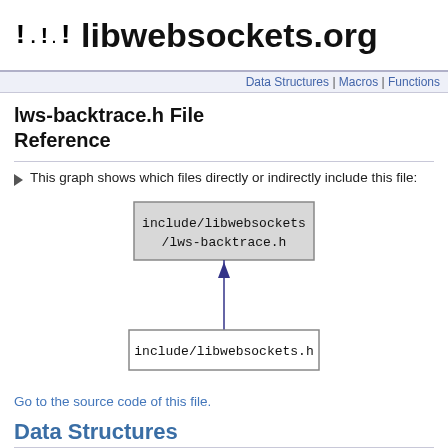libwebsockets.org
Data Structures | Macros | Functions
lws-backtrace.h File Reference
This graph shows which files directly or indirectly include this file:
[Figure (flowchart): Dependency graph showing include/libwebsockets/lws-backtrace.h at top (gray box), with an arrow pointing up from include/libwebsockets.h (white box) below it.]
Go to the source code of this file.
Data Structures